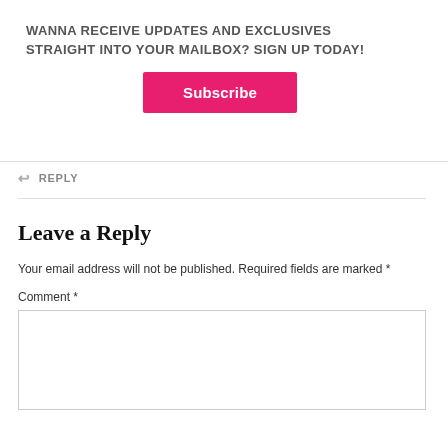WANNA RECEIVE UPDATES AND EXCLUSIVES STRAIGHT INTO YOUR MAILBOX? SIGN UP TODAY!
[Figure (other): Pink Subscribe button]
↩ REPLY
Leave a Reply
Your email address will not be published. Required fields are marked *
Comment *